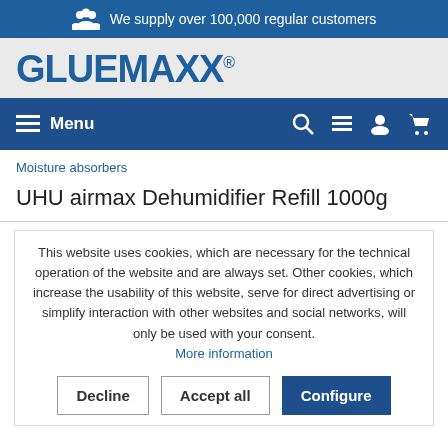We supply over 100,000 regular customers
[Figure (logo): GLUEMAXX logo in dark blue on light grey background]
Menu (navigation bar with search, list, account, cart icons)
Moisture absorbers
UHU airmax Dehumidifier Refill 1000g
This website uses cookies, which are necessary for the technical operation of the website and are always set. Other cookies, which increase the usability of this website, serve for direct advertising or simplify interaction with other websites and social networks, will only be used with your consent. More information
Decline | Accept all | Configure